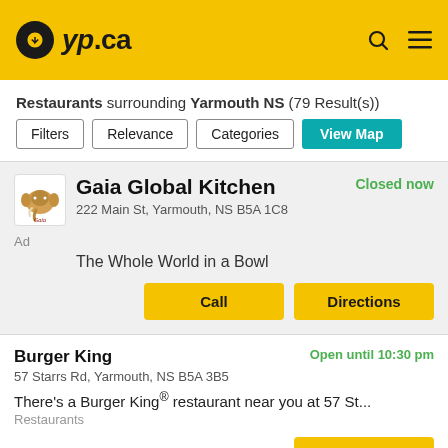[Figure (logo): yp.ca logo on yellow background header with search and menu icons]
Restaurants surrounding Yarmouth NS (79 Result(s))
Filters | Relevance | Categories | View Map
Gaia Global Kitchen
222 Main St, Yarmouth, NS B5A 1C8
Closed now
Ad
The Whole World in a Bowl
Call | Directions
Burger King
57 Starrs Rd, Yarmouth, NS B5A 3B5
Open until 10:30 pm
There's a Burger King® restaurant near you at 57 St...
Restaurants
Call